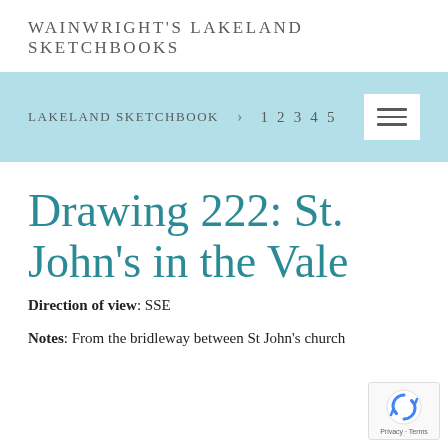WAINWRIGHT'S LAKELAND SKETCHBOOKS
LAKELAND SKETCHBOOK > 1 2 3 4 5
Drawing 222: St. John's in the Vale
Direction of view: SSE
Notes: From the bridleway between St John's church